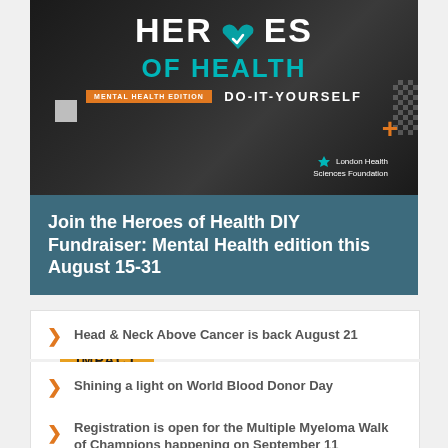[Figure (illustration): Heroes of Health DIY Fundraiser mental health edition banner image with dark background showing a person sitting, teal 'OF HEALTH' text, 'DO-IT-YOURSELF' subtitle, London Health Sciences Foundation logo, decorative elements including white square, checkered pattern, orange plus sign]
DONOR IMPACT
Join the Heroes of Health DIY Fundraiser: Mental Health edition this August 15-31
Head & Neck Above Cancer is back August 21
Shining a light on World Blood Donor Day
Registration is open for the Multiple Myeloma Walk of Champions happening on September 11